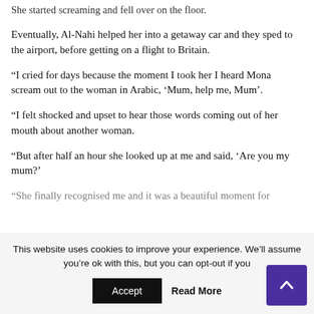She started screaming and fell over on the floor.
Eventually, Al-Nahi helped her into a getaway car and they sped to the airport, before getting on a flight to Britain.
“I cried for days because the moment I took her I heard Mona scream out to the woman in Arabic, ‘Mum, help me, Mum’.
“I felt shocked and upset to hear those words coming out of her mouth about another woman.
“But after half an hour she looked up at me and said, ‘Are you my mum?’
“She finally recognised me and it was a beautiful moment for
This website uses cookies to improve your experience. We’ll assume you’re ok with this, but you can opt-out if you
Accept
Read More